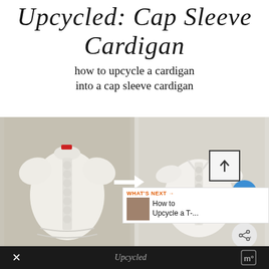Upcycled: Cap Sleeve Cardigan
how to upcycle a cardigan into a cap sleeve cardigan
[Figure (photo): Before and after comparison of a white cardigan being upcycled into a cap sleeve cardigan, with a white arrow pointing from before (left) to after (right). UI overlay elements visible including an upward arrow square, blue heart icon, count 18, share icon, and a 'What's Next' card showing 'How to Upcycle a T-...']
Upcycled